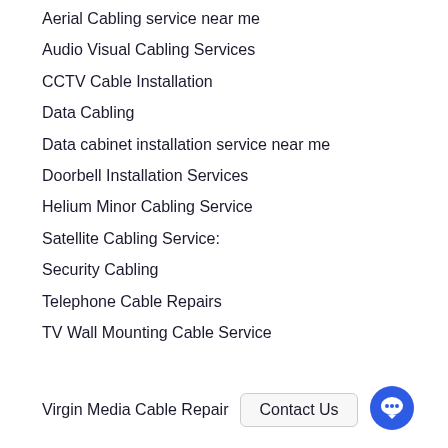Aerial Cabling service near me
Audio Visual Cabling Services
CCTV Cable Installation
Data Cabling
Data cabinet installation service near me
Doorbell Installation Services
Helium Minor Cabling Service
Satellite Cabling Service:
Security Cabling
Telephone Cable Repairs
TV Wall Mounting Cable Service
Virgin Media Cable Repair